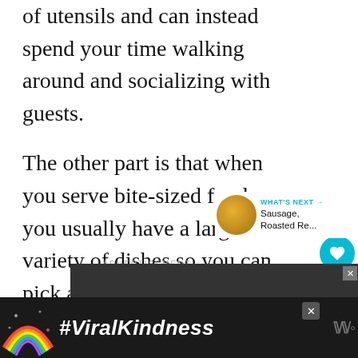of utensils and can instead spend your time walking around and socializing with guests.
The other part is that when you serve bite-sized foods, you usually have a large variety of dishes so you can pick a number of foods to enjoy. That's a major bonus for this indecisive girl that always wants to try a bite of everything.
ADVERTISEMENT
[Figure (screenshot): Advertisement banner showing #ViralKindness with rainbow illustration on dark background]